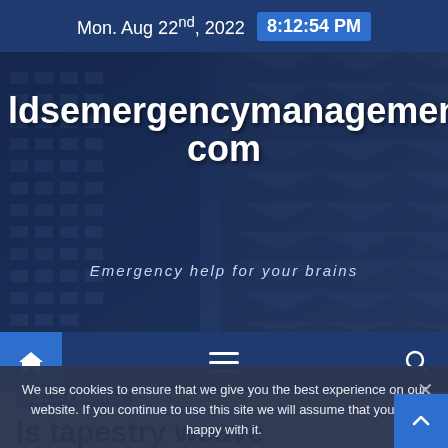Mon. Aug 22nd, 2022  8:12:54 PM
[Figure (screenshot): Hero banner with building/skyscraper background image in dark blue tones]
ldsemergencymanagement.com
Emergency help for your brains
[Figure (other): Navigation bar with home icon, hamburger menu, and search icon on dark blue background]
We use cookies to ensure that we give you the best experience on our website. If you continue to use this site we will assume that you are happy with it.
MISCELLANEOUS
Is tapestry weave